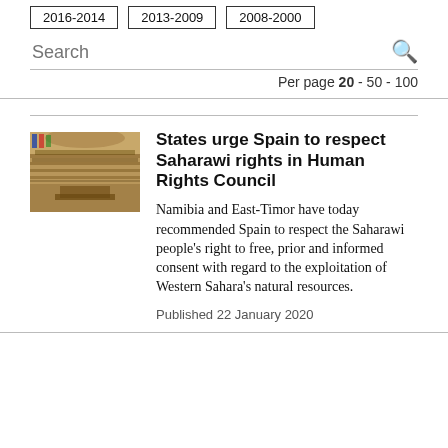2016-2014   2013-2009   2008-2000
Search
Per page 20 - 50 - 100
[Figure (photo): Interior of a large assembly hall, likely the UN Human Rights Council chamber, with seats arranged in semicircular rows and flags visible.]
States urge Spain to respect Saharawi rights in Human Rights Council
Namibia and East-Timor have today recommended Spain to respect the Saharawi people's right to free, prior and informed consent with regard to the exploitation of Western Sahara's natural resources.
Published 22 January 2020